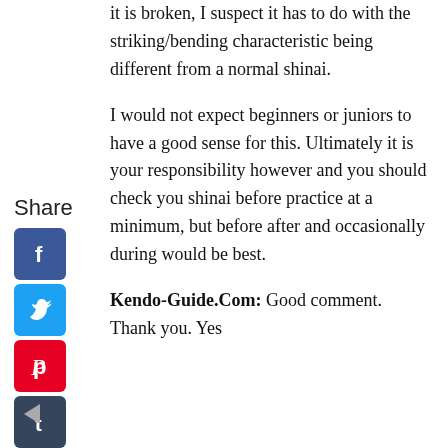it is broken, I suspect it has to do with the striking/bending characteristic being different from a normal shinai.
I would not expect beginners or juniors to have a good sense for this. Ultimately it is your responsibility however and you should check you shinai before practice at a minimum, but before after and occasionally during would be best.
Kendo-Guide.Com: Good comment. Thank you. Yes
Share
[Figure (infographic): Social media sharing icons: Facebook (blue), Twitter (light blue), Pinterest (red), Tumblr (dark blue/slate), Reddit (orange-red), WhatsApp (green), Messenger (blue). Arranged vertically in a sidebar.]
[Figure (other): Back arrow (left-pointing triangle) in grey]